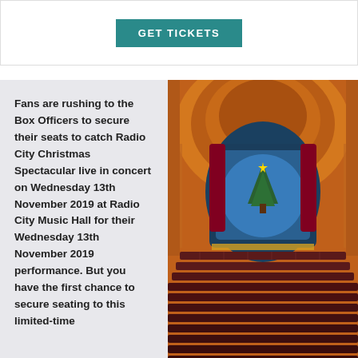[Figure (other): GET TICKETS button in teal/dark cyan color]
Fans are rushing to the Box Officers to secure their seats to catch Radio City Christmas Spectacular live in concert on Wednesday 13th November 2019 at Radio City Music Hall for their Wednesday 13th November 2019 performance. But you have the first chance to secure seating to this limited-time
[Figure (photo): Interior of Radio City Music Hall showing the stage with Christmas decorations, ornate arched ceiling with warm golden lighting, and red theater seating in the foreground]